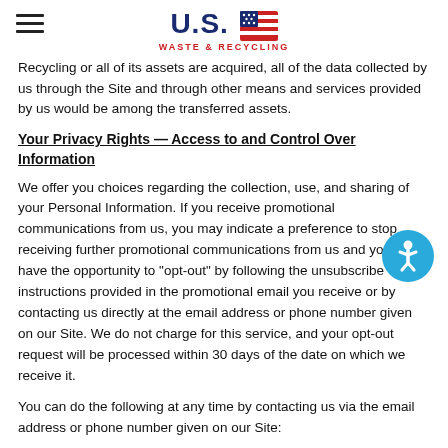U.S. WASTE & RECYCLING
Recycling or all of its assets are acquired, all of the data collected by us through the Site and through other means and services provided by us would be among the transferred assets.
Your Privacy Rights — Access to and Control Over Information
We offer you choices regarding the collection, use, and sharing of your Personal Information. If you receive promotional communications from us, you may indicate a preference to stop receiving further promotional communications from us and you will have the opportunity to "opt-out" by following the unsubscribe instructions provided in the promotional email you receive or by contacting us directly at the email address or phone number given on our Site. We do not charge for this service, and your opt-out request will be processed within 30 days of the date on which we receive it.
You can do the following at any time by contacting us via the email address or phone number given on our Site: